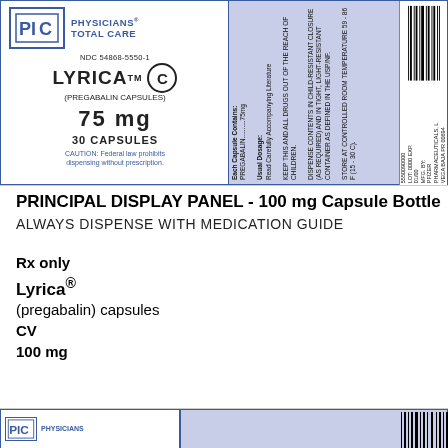[Figure (photo): Physicians Total Care medication label for LYRICA (pregabalin) capsules 75 mg, 30 capsules, NDC 54868-5550-1, with barcode and dispensing information]
PRINCIPAL DISPLAY PANEL - 100 mg Capsule Bottle
ALWAYS DISPENSE WITH MEDICATION GUIDE
Rx only
Lyrica® (pregabalin) capsules
CV
100 mg
[Figure (photo): Bottom partial Physicians Total Care label strip for Lyrica]